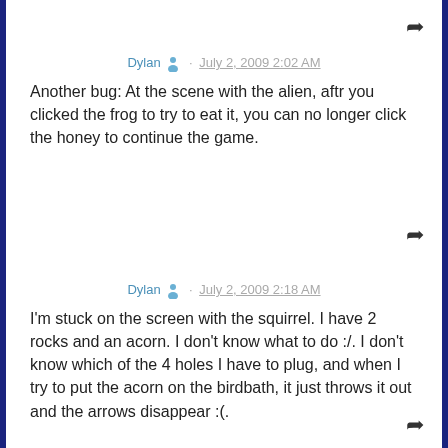Dylan · July 2, 2009 2:02 AM
Another bug: At the scene with the alien, aftr you clicked the frog to try to eat it, you can no longer click the honey to continue the game.
Dylan · July 2, 2009 2:18 AM
I'm stuck on the screen with the squirrel. I have 2 rocks and an acorn. I don't know what to do :/. I don't know which of the 4 holes I have to plug, and when I try to put the acorn on the birdbath, it just throws it out and the arrows disappear :(.